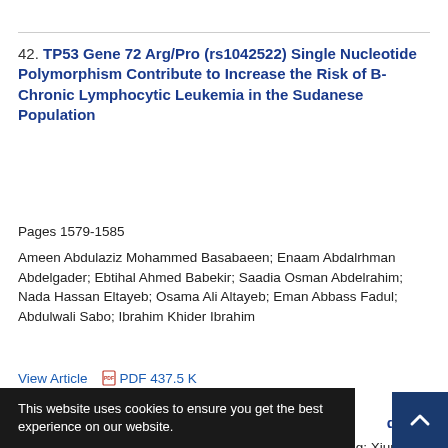42. TP53 Gene 72 Arg/Pro (rs1042522) Single Nucleotide Polymorphism Contribute to Increase the Risk of B-Chronic Lymphocytic Leukemia in the Sudanese Population
Pages 1579-1585
Ameen Abdulaziz Mohammed Basabaeen; Enaam Abdalrhman Abdelgader; Ebtihal Ahmed Babekir; Saadia Osman Abdelrahim; Nada Hassan Eltayeb; Osama Ali Altayeb; Eman Abbass Fadul; Abdulwali Sabo; Ibrahim Khider Ibrahim
View Article   PDF 437.5 K
This website uses cookies to ensure you get the best experience on our website.
Got it!